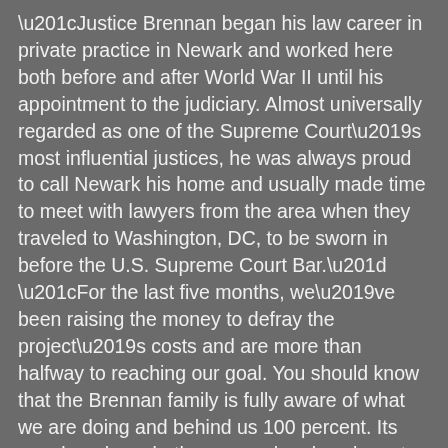“Justice Brennan began his law career in private practice in Newark and worked here both before and after World War II until his appointment to the judiciary. Almost universally regarded as one of the Supreme Court’s most influential justices, he was always proud to call Newark his home and usually made time to meet with lawyers from the area when they traveled to Washington, DC, to be sworn in before the U.S. Supreme Court Bar.”
“For the last five months, we’ve been raising the money to defray the project’s costs and are more than halfway to reaching our goal. You should know that the Brennan family is fully aware of what we are doing and behind us 100 percent. Its members have both appeared and spoken at our functions. Nancy Brennan, the justice’s daughter, is director of the Rose Fitzgerald Kennedy Greenway Conservancy in Boston.”
Writing in early January, Sterling said, “As of this past